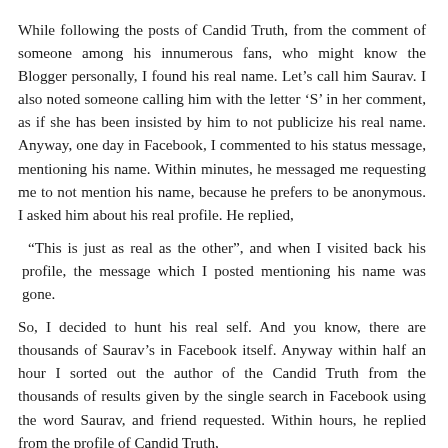While following the posts of Candid Truth, from the comment of someone among his innumerous fans, who might know the Blogger personally, I found his real name. Let's call him Saurav. I also noted someone calling him with the letter 'S' in her comment, as if she has been insisted by him to not publicize his real name. Anyway, one day in Facebook, I commented to his status message, mentioning his name. Within minutes, he messaged me requesting me to not mention his name, because he prefers to be anonymous. I asked him about his real profile. He replied,
“This is just as real as the other”, and when I visited back his profile, the message which I posted mentioning his name was gone.
So, I decided to hunt his real self. And you know, there are thousands of Saurav’s in Facebook itself. Anyway within half an hour I sorted out the author of the Candid Truth from the thousands of results given by the single search in Facebook using the word Saurav, and friend requested. Within hours, he replied from the profile of Candid Truth,